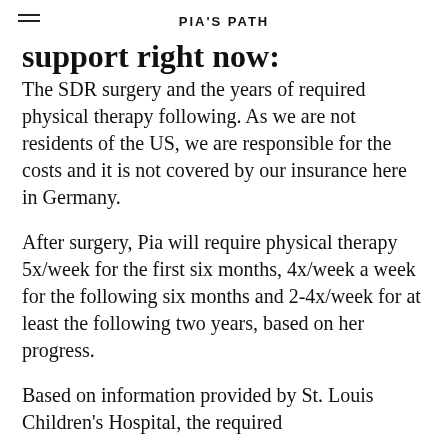PIA'S PATH
support right now:
The SDR surgery and the years of required physical therapy following. As we are not residents of the US, we are responsible for the costs and it is not covered by our insurance here in Germany.
After surgery, Pia will require physical therapy 5x/week for the first six months, 4x/week a week for the following six months and 2-4x/week for at least the following two years, based on her progress.
Based on information provided by St. Louis Children's Hospital, the required